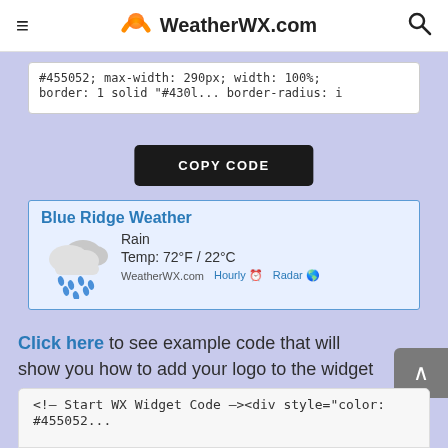≡ WeatherWX.com 🔍
#455052; max-width: 290px; width: 100%; border: 1 solid "#430l...
COPY CODE
[Figure (screenshot): Weather widget preview showing Blue Ridge Weather with Rain condition, Temp: 72°F / 22°C, WeatherWX.com, Hourly and Radar links]
Click here to see example code that will show you how to add your logo to the widget (See Duke University example below). There really is no limit to the styling possibilities.
<!-- Start WX Widget Code --><div style="color: #455052...